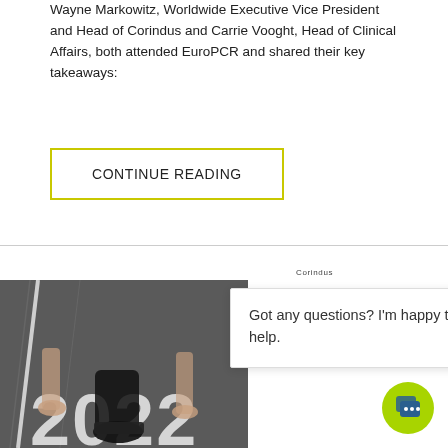Wayne Markowitz, Worldwide Executive Vice President and Head of Corindus and Carrie Vooght, Head of Clinical Affairs, both attended EuroPCR and shared their key takeaways:
CONTINUE READING
[Figure (photo): Photo of people's legs and feet standing on a road with '2022' painted on it in large white numerals; one person is barefoot, another wears black sneakers]
Corindus
Got any questions? I'm happy to help.